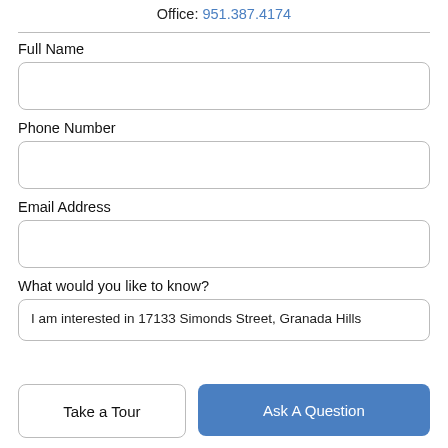Office: 951.387.4174
Full Name
Phone Number
Email Address
What would you like to know?
I am interested in 17133 Simonds Street, Granada Hills
Take a Tour
Ask A Question